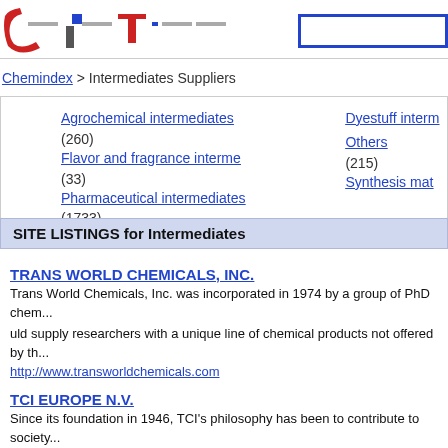[Figure (logo): Chemindex website logo with red and blue letter forms, partially cropped]
Chemindex > Intermediates Suppliers
Agrochemical intermediates (260)
Flavor and fragrance interme (33)
Pharmaceutical intermediates (1733)
Dyestuff interm
Others (215)
Synthesis mat
SITE LISTINGS for Intermediates
TRANS WORLD CHEMICALS, INC.
Trans World Chemicals, Inc. was incorporated in 1974 by a group of PhD chem... uld supply researchers with a unique line of chemical products not offered by th...
http://www.transworldchemicals.com
TCI EUROPE N.V.
Since its foundation in 1946, TCI's philosophy has been to contribute to society... of organic laboratory chemicals. We are proud that, today, our company offers...
http://www.tcieurope.be